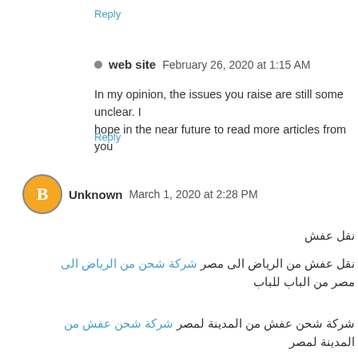Reply
web site  February 26, 2020 at 1:15 AM
In my opinion, the issues you raise are still some unclear. I hope in the near future to read more articles from you
Reply
Unknown  March 1, 2020 at 2:28 PM
نقل عفش
نقل عفش من الرياض الى مصر شركة شحن من الرياض الى مصر من الباب للباب
شركة شحن عفش من المدينة لمصر شركة شحن عفش من المدينة لمصر